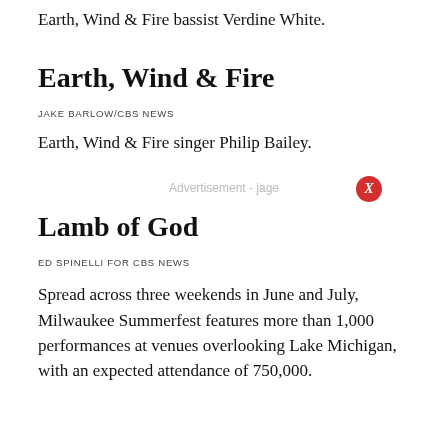Earth, Wind & Fire bassist Verdine White.
Earth, Wind & Fire
JAKE BARLOW/CBS NEWS
Earth, Wind & Fire singer Philip Bailey.
Advertisement - jage
Lamb of God
ED SPINELLI FOR CBS NEWS
Spread across three weekends in June and July, Milwaukee Summerfest features more than 1,000 performances at venues overlooking Lake Michigan, with an expected attendance of 750,000.